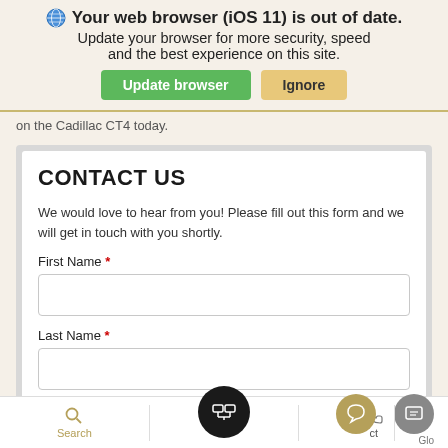[Figure (screenshot): Browser update notification banner with globe icon, bold text 'Your web browser (iOS 11) is out of date.', subtitle text, and two buttons: green 'Update browser' and tan 'Ignore']
on the Cadillac CT4 today.
CONTACT US
We would love to hear from you! Please fill out this form and we will get in touch with you shortly.
First Name *
Last Name *
[Figure (screenshot): Bottom navigation bar with Search, accessibility icon, Contact, chat bubble, and Glo icons, plus floating action buttons]